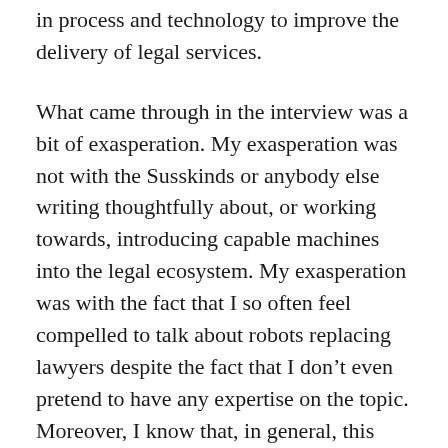in process and technology to improve the delivery of legal services.
What came through in the interview was a bit of exasperation. My exasperation was not with the Susskinds or anybody else writing thoughtfully about, or working towards, introducing capable machines into the legal ecosystem. My exasperation was with the fact that I so often feel compelled to talk about robots replacing lawyers despite the fact that I don’t even pretend to have any expertise on the topic. Moreover, I know that, in general, this discussion leads to an unproductive place, which is why so many of us caveat discussions of law and technology by assuaging fears that Skynet is on the verge of eradicating lawyers.
(partial text at bottom of page)